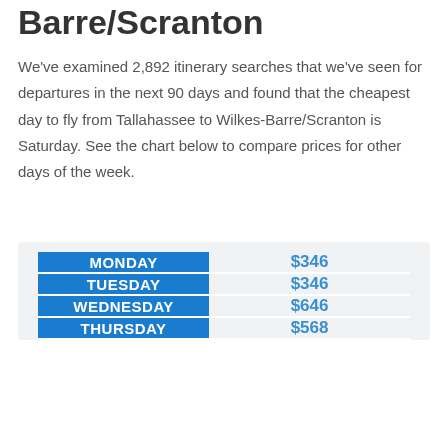Barre/Scranton
We've examined 2,892 itinerary searches that we've seen for departures in the next 90 days and found that the cheapest day to fly from Tallahassee to Wilkes-Barre/Scranton is Saturday. See the chart below to compare prices for other days of the week.
| Day | Price |
| --- | --- |
| MONDAY | $346 |
| TUESDAY | $346 |
| WEDNESDAY | $646 |
| THURSDAY | $568 |